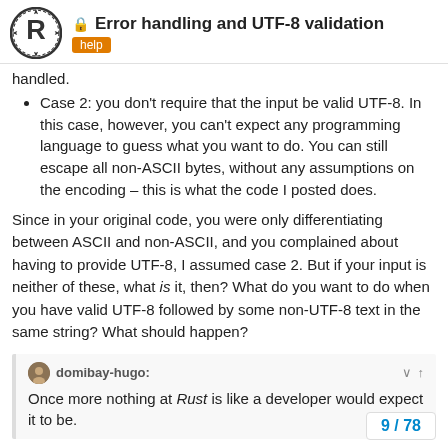Error handling and UTF-8 validation — help
handled.
Case 2: you don't require that the input be valid UTF-8. In this case, however, you can't expect any programming language to guess what you want to do. You can still escape all non-ASCII bytes, without any assumptions on the encoding – this is what the code I posted does.
Since in your original code, you were only differentiating between ASCII and non-ASCII, and you complained about having to provide UTF-8, I assumed case 2. But if your input is neither of these, what is it, then? What do you want to do when you have valid UTF-8 followed by some non-UTF-8 text in the same string? What should happen?
domibay-hugo: Once more nothing at Rust is like a developer would expect it to be.
Your expectations arise out of an insufficie
9 / 78